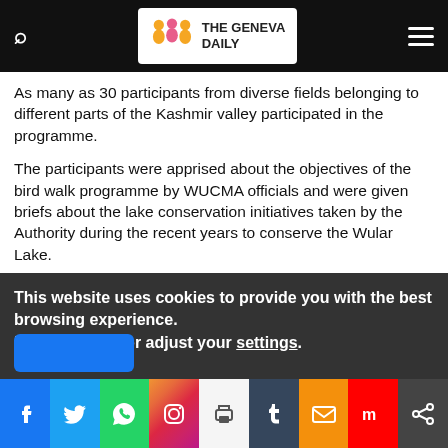The Geneva Daily
As many as 30 participants from diverse fields belonging to different parts of the Kashmir valley participated in the programme.
The participants were apprised about the objectives of the bird walk programme by WUCMA officials and were given briefs about the lake conservation initiatives taken by the Authority during the recent years to conserve the Wular Lake.
The participants were later taken for a short jungle walk in the Kandi Forest Range of Kamraj Forest Division for bird watching, which was followed by boating trips in the Wular Lake for bird sightings.
The WUCMA officials and participants interacted with the locals and explained to them the need to conserve the Wular Lake and its associated avifauna.
This website uses cookies to provide you with the best browsing experience. Find out more or adjust your settings.
Social share bar: Facebook, Twitter, WhatsApp, Instagram, Print, Tumblr, Email, Mix, Share